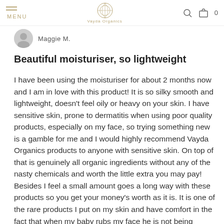MENU | Vayda Organics | [search] [cart] 0
Maggie M.
Beautiful moisturiser, so lightweight
I have been using the moisturiser for about 2 months now and I am in love with this product! It is so silky smooth and lightweight, doesn't feel oily or heavy on your skin. I have sensitive skin, prone to dermatitis when using poor quality products, especially on my face, so trying something new is a gamble for me and I would highly recommend Vayda Organics products to anyone with sensitive skin. On top of that is genuinely all organic ingredients without any of the nasty chemicals and worth the little extra you may pay! Besides I feel a small amount goes a long way with these products so you get your money's worth as it is. It is one of the rare products I put on my skin and have comfort in the fact that when my baby rubs my face he is not being exposed to any harsh, hidden chemicals himself! I have just gone back